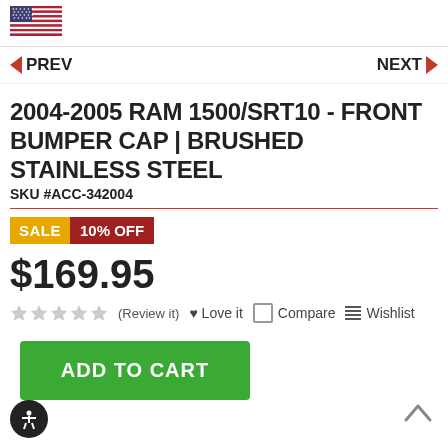[Figure (illustration): US flag icon]
◀ PREV    NEXT ▶
2004-2005 RAM 1500/SRT10 - FRONT BUMPER CAP | BRUSHED STAINLESS STEEL
SKU #ACC-342004
SALE 10% OFF
$169.95
★★★★★ (Review it) ♥ Love it □ Compare ☰ Wishlist
ADD TO CART